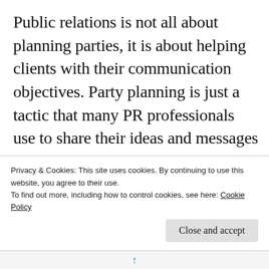Public relations is not all about planning parties, it is about helping clients with their communication objectives. Party planning is just a tactic that many PR professionals use to share their ideas and messages for their client. When it comes to party planning in PR, there is a lot of work that goes into it. Promotion, publicity, research and planning all play a role in making the event a success for your
Privacy & Cookies: This site uses cookies. By continuing to use this website, you agree to their use.
To find out more, including how to control cookies, see here: Cookie Policy
Close and accept